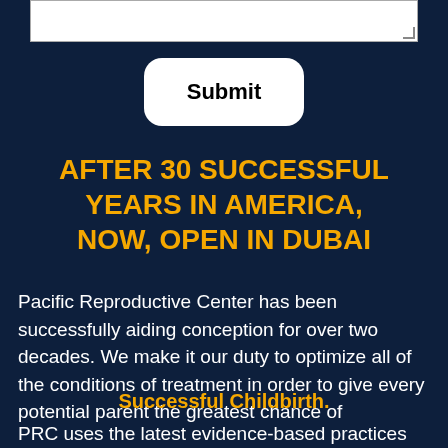[Figure (other): A text input area (textarea) with a resize handle in the top portion of the page]
[Figure (other): A rounded white Submit button]
AFTER 30 SUCCESSFUL YEARS IN AMERICA, NOW, OPEN IN DUBAI
Pacific Reproductive Center has been successfully aiding conception for over two decades. We make it our duty to optimize all of the conditions of treatment in order to give every potential parent the greatest chance of
Successful Childbirth.
PRC uses the latest evidence-based practices